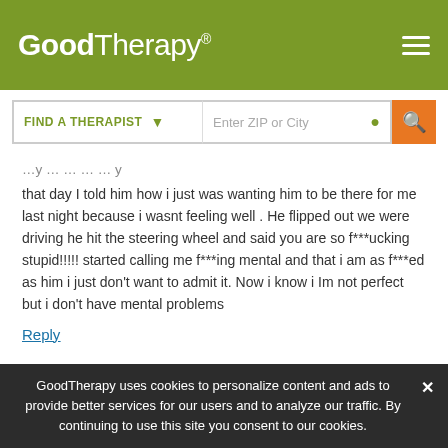GoodTherapy®
that day I told him how i just was wanting him to be there for me last night because i wasnt feeling well . He flipped out we were driving he hit the steering wheel and said you are so f***ucking stupid!!!!! started calling me f***ing mental and that i am as f***ed as him i just don't want to admit it. Now i know i Im not perfect but i don't have mental problems
Reply
GoodTherapy uses cookies to personalize content and ads to provide better services for our users and to analyze our traffic. By continuing to use this site you consent to our cookies.